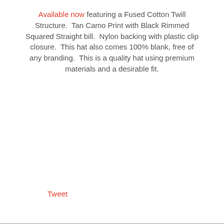Available now featuring a Fused Cotton Twill Structure.  Tan Camo Print with Black Rimmed Squared Straight bill.  Nylon backing with plastic clip closure.  This hat also comes 100% blank, free of any branding.  This is a quality hat using premium materials and a desirable fit.
Tweet